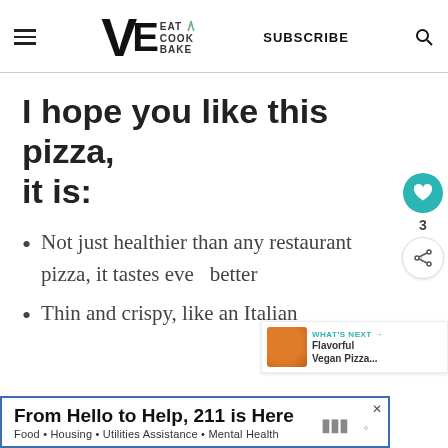VE EAT COOK BAKE  SUBSCRIBE
I hope you like this pizza, it is:
Not just healthier than any restaurant pizza, it tastes even better
Thin and crispy, like an Italian
[Figure (other): Heart/like button showing count 3 and a share button]
[Figure (other): What's Next widget showing Flavorful Vegan Pizza... with thumbnail]
[Figure (other): Advertisement banner: From Hello to Help, 211 is Here. Food · Housing · Utilities Assistance · Mental Health]